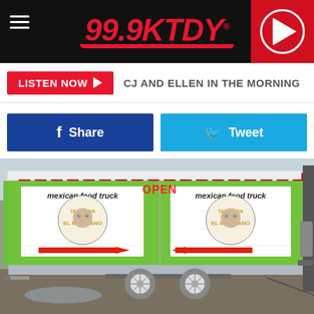99.9KTDY
LISTEN NOW  CJ AND ELLEN IN THE MORNING
Share
Tweet
[Figure (photo): A green Taqueria El Mexicano Mexican food truck trailer with two white-wheeled axles, an OPEN neon sign, and two banners with a bulldog logo and red arrows, parked on a gravel/grass surface.]